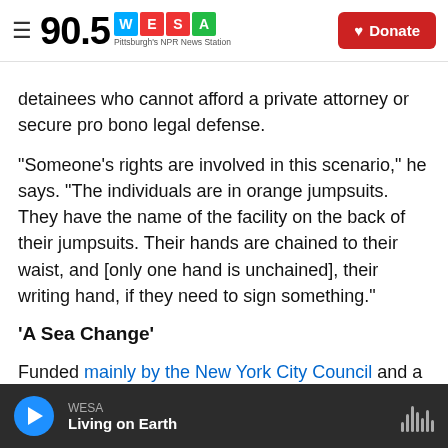90.5 WESA — Pittsburgh's NPR News Station | Donate
detainees who cannot afford a private attorney or secure pro bono legal defense.
"Someone's rights are involved in this scenario," he says. "The individuals are in orange jumpsuits. They have the name of the facility on the back of their jumpsuits. Their hands are chained to their waist, and [only one hand is unchained], their writing hand, if they need to sign something."
'A Sea Change'
Funded mainly by the New York City Council and a contribution by Yeshiva University's Cardozo School
WESA — Living on Earth